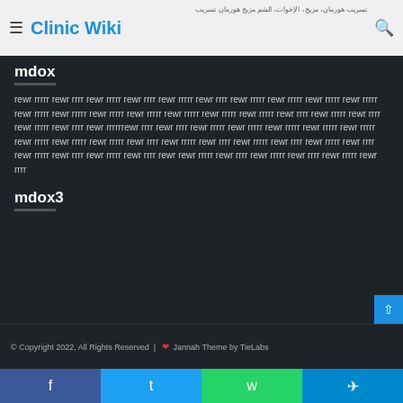Clinic Wiki
mdox
rewr rrrrr rewr rrrr rewr rrrrr rewr rrrr rewr rrrrr rewr rrrr rewr rrrrr rewr rrrrr rewr rrrrr rewr rrrrr rewr rrrrr rewr rrrrr rewr rrrrr rewr rrrrr rewr rrrrr rewr rrrrr rewr rrrrr rewr rrrr rewr rrrrr rewr rrrr rewr rrrrr rewr rrrr rewr rrrrrrewr rrrr rewr rrrr rewr rrrrr rewr rrrrr rewr rrrrr rewr rrrrr rewr rrrrr rewr rrrrr rewr rrrrr rewr rrrrr rewr rrrr rewr rrrrr rewr rrrr rewr rrrrr rewr rrrr rewr rrrrr rewr rrrr rewr rrrrr rewr rrrr rewr rrrrr rewr rrrr rewr rewr rrrrr rewr rrrr rewr rrrrr rewr rrrr rewr rrrrr rewr rrrr
mdox3
© Copyright 2022, All Rights Reserved | ❤ Jannah Theme by TieLabs